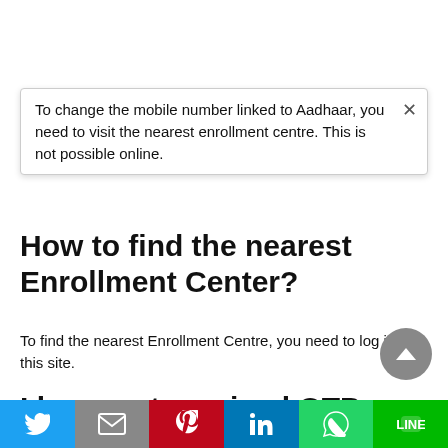To change the mobile number linked to Aadhaar, you need to visit the nearest enrollment centre. This is not possible online.
How to find the nearest Enrollment Center?
To find the nearest Enrollment Centre, you need to log in to this site.
I have not received OTP on my